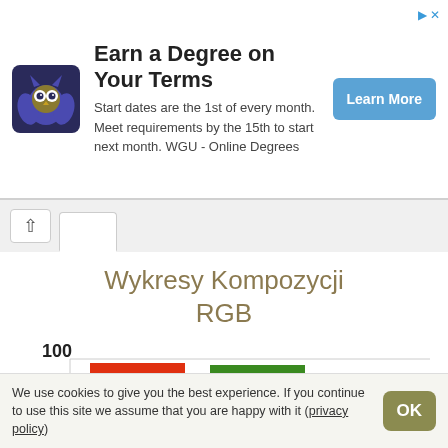[Figure (infographic): WGU owl logo advertisement banner: 'Earn a Degree on Your Terms'. Text: 'Start dates are the 1st of every month. Meet requirements by the 15th to start next month. WGU - Online Degrees'. Blue 'Learn More' button.]
[Figure (bar-chart): Wykresy Kompozycji RGB]
We use cookies to give you the best experience. If you continue to use this site we assume that you are happy with it (privacy policy)